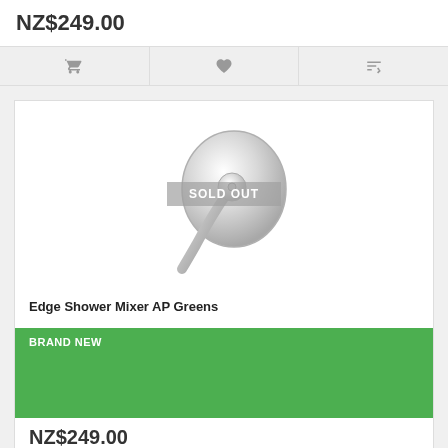NZ$249.00
[Figure (infographic): Three action icons: shopping cart, heart/wishlist, and compare arrows]
[Figure (photo): Chrome Edge Shower Mixer AP Greens product image with 'SOLD OUT' overlay banner]
Edge Shower Mixer AP Greens
BRAND NEW
NZ$249.00